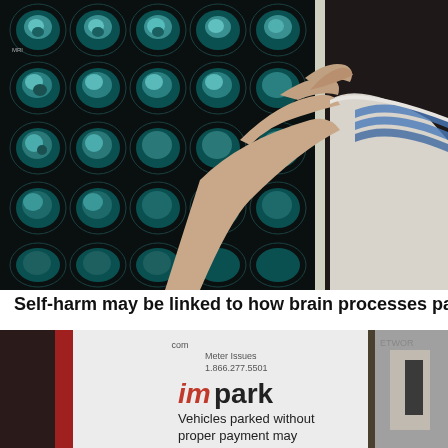[Figure (photo): A medical professional in a white coat with blue striped sleeve pointing at a backlit display of brain MRI scan images arranged in a grid.]
Self-harm may be linked to how brain processes pain
[Figure (photo): An impark parking sign on a white board reading: Meter Issues 1.866.277.5501, impark (in red and black), Vehicles parked without proper payment may [be subject to demand...]]